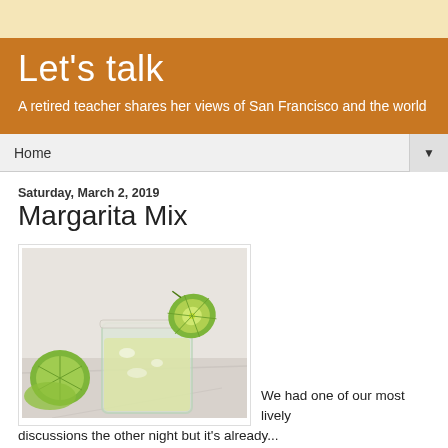Let's talk
A retired teacher shares her views of San Francisco and the world
Home
Saturday, March 2, 2019
Margarita Mix
[Figure (photo): A margarita cocktail in a glass with a salted rim, garnished with a lime slice, and cut limes on the side, on a marble surface.]
We had one of our most lively discussions the other night but it's already...